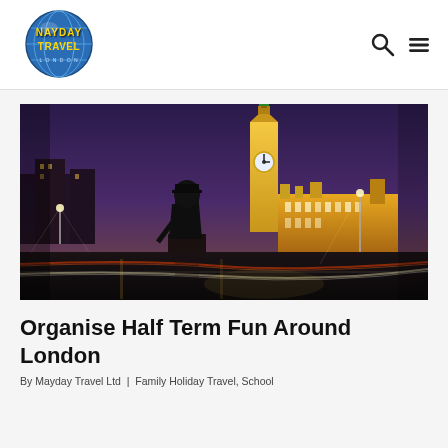Mayday Travel [logo] | search icon | menu icon
[Figure (photo): Night photograph of Westminster, London, featuring Big Ben illuminated in green and gold, a silhouette of a Winston Churchill statue in the foreground, light trails from traffic, and the Houses of Parliament lit up in the background under a purple twilight sky.]
Organise Half Term Fun Around London
By Mayday Travel Ltd | Family Holiday Travel, School